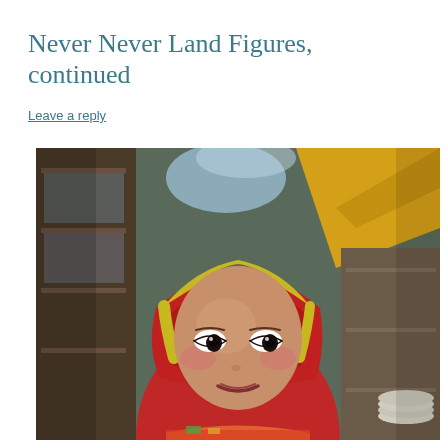Never Never Land Figures, continued
Leave a reply
[Figure (photo): Close-up photograph of a folk art or ceramic figure of a child wearing a red hood/headscarf with yellow trim, set against a background of shelves and store items. The figure has painted wide dark eyes and a solemn expression.]